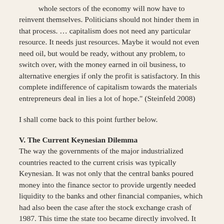whole sectors of the economy will now have to reinvent themselves. Politicians should not hinder them in that process. … capitalism does not need any particular resource. It needs just resources. Maybe it would not even need oil, but would be ready, without any problem, to switch over, with the money earned in oil business, to alternative energies if only the profit is satisfactory. In this complete indifference of capitalism towards the materials entrepreneurs deal in lies a lot of hope." (Steinfeld 2008)
I shall come back to this point further below.
V. The Current Keynesian Dilemma
The way the governments of the major industrialized countries reacted to the current crisis was typically Keynesian. It was not only that the central banks poured money into the finance sector to provide urgently needed liquidity to the banks and other financial companies, which had also been the case after the stock exchange crash of 1987. This time the state too became directly involved. It put hundreds of billions of dollar and euro at the disposal of companies, which were in danger of going bankrupt, and also allocated billions for spending (in the USA 790 billion dollar) in